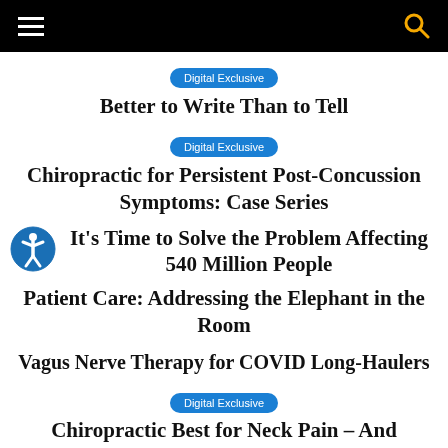Navigation bar with hamburger menu and search icon
Digital Exclusive
Better to Write Than to Tell
Digital Exclusive
Chiropractic for Persistent Post-Concussion Symptoms: Case Series
It's Time to Solve the Problem Affecting 540 Million People
Patient Care: Addressing the Elephant in the Room
Vagus Nerve Therapy for COVID Long-Haulers
Digital Exclusive
Chiropractic Best for Neck Pain – And Insurers Are Taking Notice